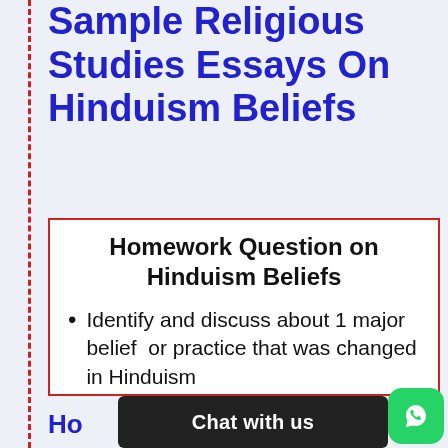Sample Religious Studies Essays On Hinduism Beliefs
Homework Question on Hinduism Beliefs
Identify and discuss about 1 major belief or practice that was changed in Hinduism
Ho... on
Chat with us